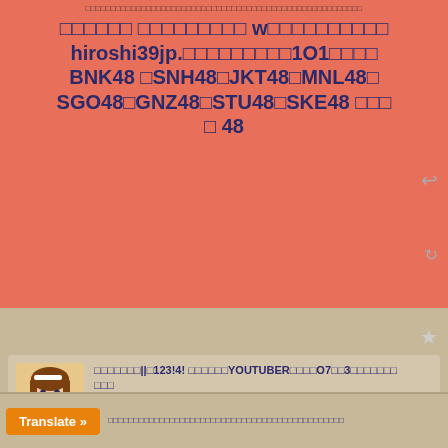□□□□□□ □□□□□□□□□ w□□□□□□□□□□ □□23 jp.□□□□□□□□1O1□□□□ BNK48 □SNH48□JKT48□MNL48□ SGO48□GNZ48□STU48□SKE48 □□□ □ 48
[Figure (illustration): Anime-style avatar of a girl with brown hair]
□□□□□□□||□123!4! □□□□□□YOUTUBER□□□□O7□□3□□□□□□□ □□□
□□□□□□□□□□□□□□□□□□□□□□□□□The Time□□□□□□□□□ □□□Masa□□□□□□□ hiroshi39jp.php.xdomain.jp/?p=420056
51□ □
Translate »
□□□□□□□□□□□□□□□□□□□□□□□□□□□□□□□□□□□□□□□□□□□□□□